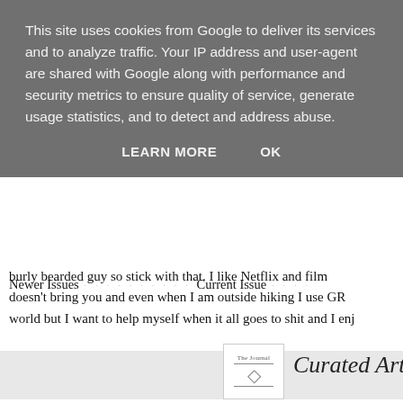This site uses cookies from Google to deliver its services and to analyze traffic. Your IP address and user-agent are shared with Google along with performance and security metrics to ensure quality of service, generate usage statistics, and to detect and address abuse.
LEARN MORE   OK
burly bearded guy so stick with that. I like Netflix and film doesn't bring you and even when I am outside hiking I use GR world but I want to help myself when it all goes to shit and I enj
Newer Issues · · · · · · · · · · Current Issue · · · ·
[Figure (logo): The Journal logo with diamond emblem]
Curated Articles of Note